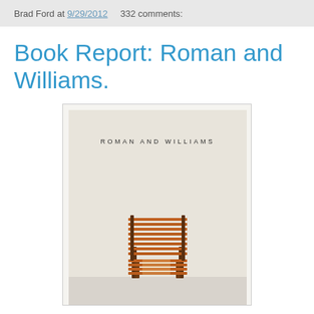Brad Ford at 9/29/2012   332 comments:
Book Report: Roman and Williams.
[Figure (photo): Book cover of 'Roman and Williams' showing the text 'ROMAN AND WILLIAMS' on a light beige wall above a wooden slatted bench/chair on a white floor.]